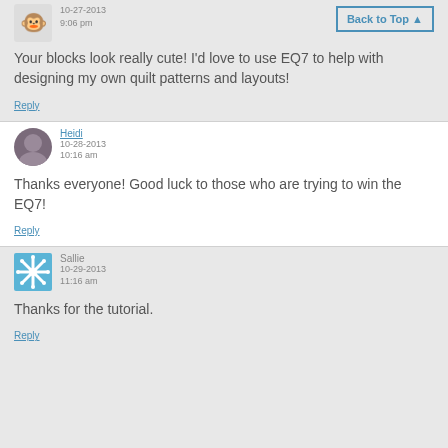10-27-2013 9:06 pm
Your blocks look really cute! I'd love to use EQ7 to help with designing my own quilt patterns and layouts!
Reply
Heidi 10-28-2013 10:16 am
Thanks everyone! Good luck to those who are trying to win the EQ7!
Reply
Sallie 10-29-2013 11:16 am
Thanks for the tutorial.
Reply